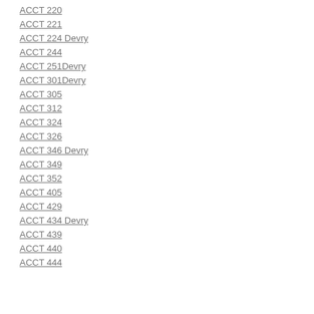ACCT 220
ACCT 221
ACCT 224 Devry
ACCT 244
ACCT 251Devry
ACCT 301Devry
ACCT 305
ACCT 312
ACCT 324
ACCT 326
ACCT 346 Devry
ACCT 349
ACCT 352
ACCT 405
ACCT 429
ACCT 434 Devry
ACCT 439
ACCT 440
ACCT 444